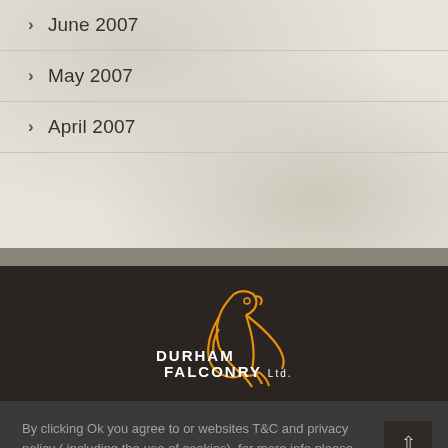> June 2007
> May 2007
> April 2007
[Figure (logo): Durham Falconry Ltd. logo with orange falcon outline on dark background]
By clicking Ok you agree to or websites T&C and privacy policy ( including the use of cookies), for more info please see our Terms and Conditions.